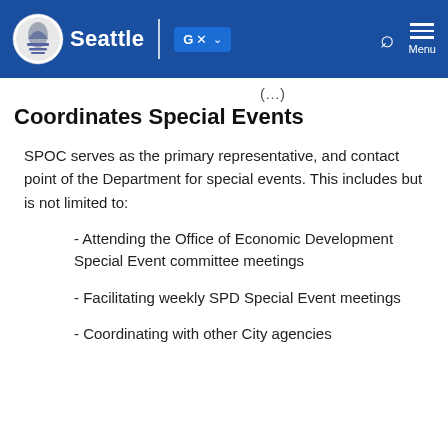Seattle | Google Translate | Search | Menu
Coordinates Special Events
SPOC serves as the primary representative, and contact point of the Department for special events.  This includes but is not limited to:
- Attending the Office of Economic Development Special Event committee meetings
- Facilitating weekly SPD Special Event meetings
- Coordinating with other City agencies